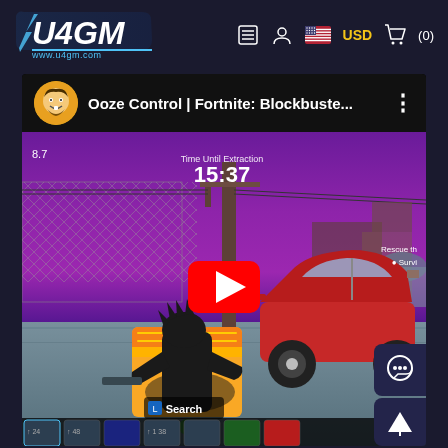[Figure (screenshot): U4GM website header with logo, navigation icons including list, user, US flag, USD label, and cart (0) icon.]
[Figure (screenshot): YouTube video embed showing 'Ooze Control | Fortnite: Blockbuste...' with channel avatar, three-dots menu, and a Fortnite Save the World gameplay screenshot with a red play button overlay. HUD shows 'Time Until Extraction 15:37', level indicator 8.7, Search prompt, and Rescue the Survivor objective. Game shows character near golden chest and a red car against a purple sky backdrop.]